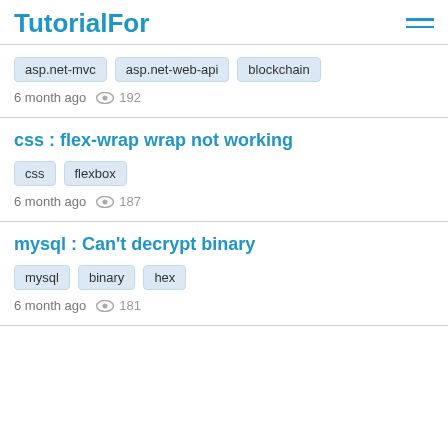TutorialFor
asp.net-mvc   asp.net-web-api   blockchain
6 month ago   192
css : flex-wrap wrap not working
css   flexbox
6 month ago   187
mysql : Can't decrypt binary
mysql   binary   hex
6 month ago   181